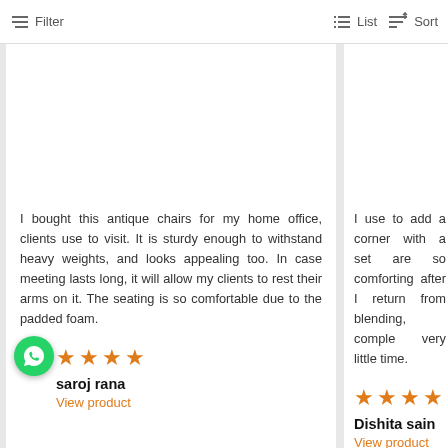Filter   List   Sort
I bought this antique chairs for my home office, clients use to visit. It is sturdy enough to withstand heavy weights, and looks appealing too. In case meeting lasts long, it will allow my clients to rest their arms on it. The seating is so comfortable due to the padded foam.
saroj rana
View product
I use to add a corner with a set are so comforting after I return from blending, complete very little time.
Dishita sain
View product